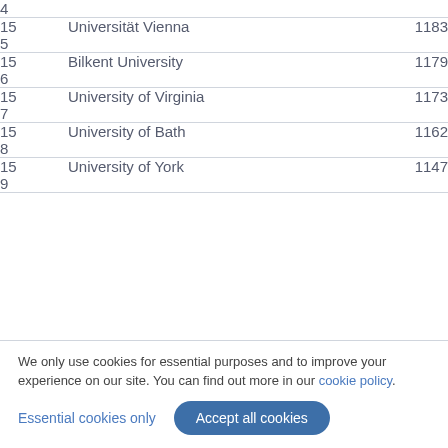| Rank | Institution | Score |
| --- | --- | --- |
| 4 |  |  |
| 155 | Universität Vienna | 1183 |
| 156 | Bilkent University | 1179 |
| 157 | University of Virginia | 1173 |
| 158 | University of Bath | 1162 |
| 159 | University of York | 1147 |
We only use cookies for essential purposes and to improve your experience on our site. You can find out more in our cookie policy.
Essential cookies only  Accept all cookies